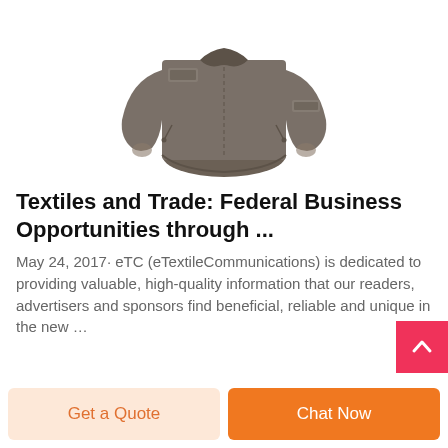[Figure (photo): Back view of a taupe/olive tactical softshell jacket with hook-and-loop patches on the shoulders and arm, zipper pockets, and collar.]
Textiles and Trade: Federal Business Opportunities through ...
May 24, 2017· eTC (eTextileCommunications) is dedicated to providing valuable, high-quality information that our readers, advertisers and sponsors find beneficial, reliable and unique in the new …